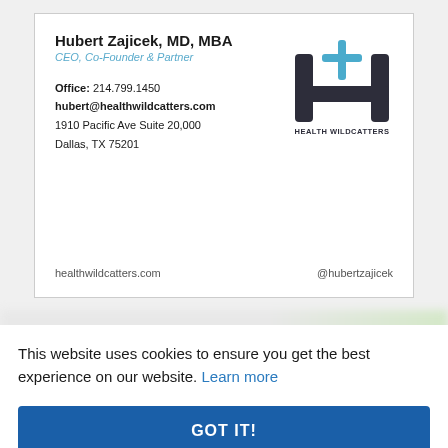[Figure (other): Business card for Hubert Zajicek MD MBA, CEO Co-Founder and Partner at Health Wildcatters, with contact info and logo]
[Figure (photo): Blurred/redacted image strip below business card]
This website uses cookies to ensure you get the best experience on our website. Learn more
GOT IT!